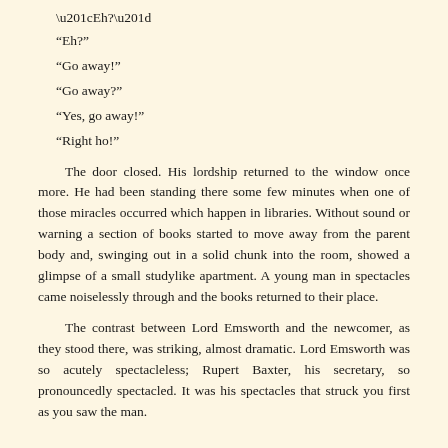“Eh?”
“Go away!”
“Go away?”
“Yes, go away!”
“Right ho!”
The door closed. His lordship returned to the window once more. He had been standing there some few minutes when one of those miracles occurred which happen in libraries. Without sound or warning a section of books started to move away from the parent body and, swinging out in a solid chunk into the room, showed a glimpse of a small studylike apartment. A young man in spectacles came noiselessly through and the books returned to their place.
The contrast between Lord Emsworth and the newcomer, as they stood there, was striking, almost dramatic. Lord Emsworth was so acutely spectacleless; Rupert Baxter, his secretary, so pronouncedly spectacled. It was his spectacles that struck you first as you saw the man.